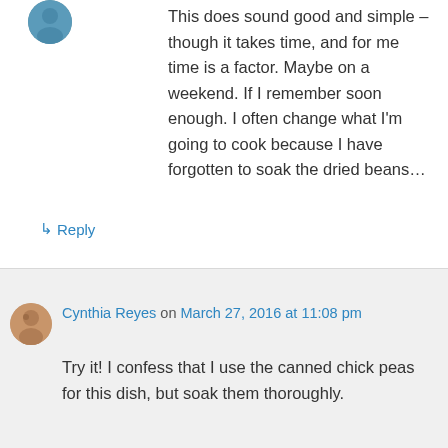[Figure (photo): Small circular avatar image at top left, blue/teal colored]
This does sound good and simple – though it takes time, and for me time is a factor. Maybe on a weekend. If I remember soon enough. I often change what I'm going to cook because I have forgotten to soak the dried beans…
↳ Reply
[Figure (photo): Small circular avatar photo of Cynthia Reyes]
Cynthia Reyes on March 27, 2016 at 11:08 pm
Try it! I confess that I use the canned chick peas for this dish, but soak them thoroughly.
↳ Reply